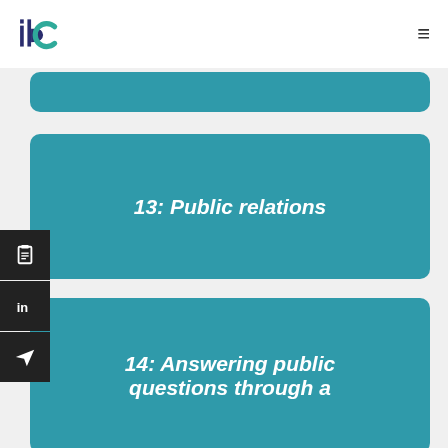ibc logo and navigation
13: Public relations
14: Answering public questions through a